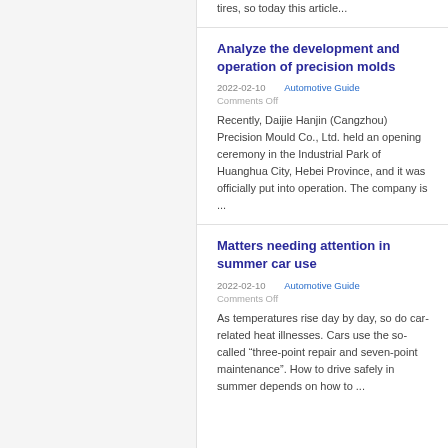tires, so today this article...
Analyze the development and operation of precision molds
2022-02-10    Automotive Guide
Comments Off
Recently, Daijie Hanjin (Cangzhou) Precision Mould Co., Ltd. held an opening ceremony in the Industrial Park of Huanghua City, Hebei Province, and it was officially put into operation. The company is ...
Matters needing attention in summer car use
2022-02-10    Automotive Guide
Comments Off
As temperatures rise day by day, so do car-related heat illnesses. Cars use the so-called “three-point repair and seven-point maintenance”. How to drive safely in summer depends on how to ...